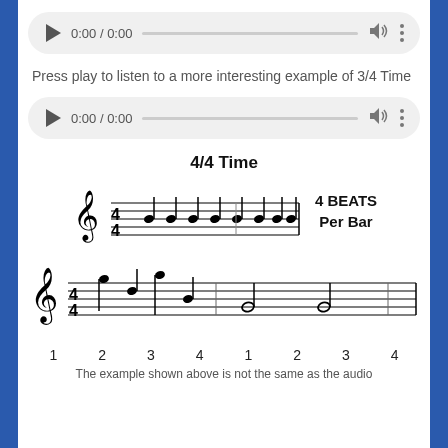[Figure (screenshot): Audio player UI element showing play button, 0:00 / 0:00 time, progress bar, volume icon, and more options]
Press play to listen to a more interesting example of 3/4 Time
[Figure (screenshot): Audio player UI element showing play button, 0:00 / 0:00 time, progress bar, volume icon, and more options]
4/4 Time
[Figure (illustration): Music notation showing 4/4 time signature with eight quarter notes on a staff, labeled '4 BEATS Per Bar'. Below is a second staff in 4/4 time with quarter notes and half notes, with beat numbers 1 2 3 4 1 2 3 4 below.]
The example shown above is not the same as the audio